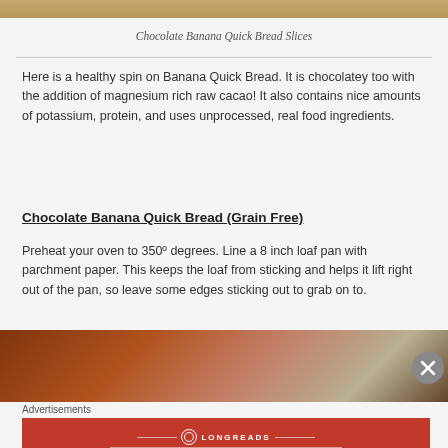[Figure (photo): Top portion of a photo showing chocolate banana quick bread slices on a wooden surface]
Chocolate Banana Quick Bread Slices
Here is a healthy spin on Banana Quick Bread. It is chocolatey too with the addition of magnesium rich raw cacao! It also contains nice amounts of potassium, protein, and uses unprocessed, real food ingredients.
Chocolate Banana Quick Bread (Grain Free)
Preheat your oven to 350º degrees. Line a 8 inch loaf pan with parchment paper. This keeps the loaf from sticking and helps it lift right out of the pan, so leave some edges sticking out to grab on to.
[Figure (photo): Bottom portion showing close-up of bread in a pan with parchment paper]
Advertisements
[Figure (other): Longreads advertisement banner — red background with text: The best stories on the web — ours, and everyone else's.]